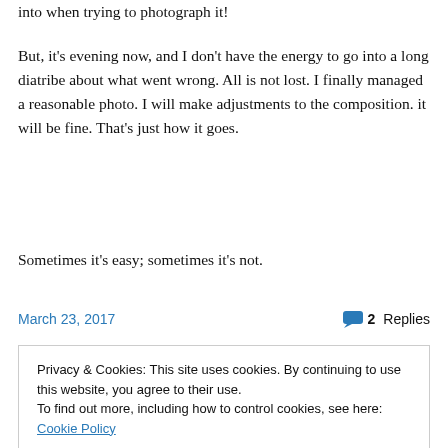into when trying to photograph it!
But, it’s evening now, and I don’t have the energy to go into a long diatribe about what went wrong. All is not lost. I finally managed a reasonable photo. I will make adjustments to the composition. it will be fine. That’s just how it goes.
Sometimes it’s easy; sometimes it’s not.
March 23, 2017   2 Replies
Privacy & Cookies: This site uses cookies. By continuing to use this website, you agree to their use.
To find out more, including how to control cookies, see here: Cookie Policy